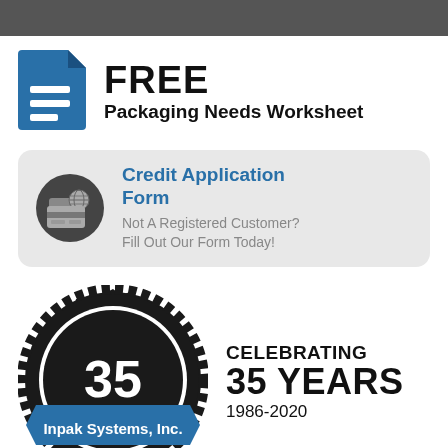[Figure (other): Dark gray top navigation bar]
[Figure (illustration): Blue document/file icon with white horizontal lines representing a worksheet]
FREE
Packaging Needs Worksheet
[Figure (illustration): Dark gray rounded rectangle card containing a dark circle with credit card and globe icon, with blue text Credit Application Form and gray subtext]
Credit Application Form
Not A Registered Customer? Fill Out Our Form Today!
[Figure (logo): 35 Years anniversary badge with gear/cog outer ring, black circle, number 35 in white, blue ribbon banner with Inpak Systems, Inc., and Years 1986-2020 text below]
CELEBRATING
35 YEARS
1986-2020